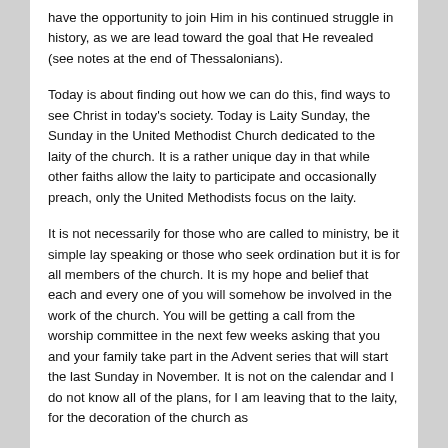have the opportunity to join Him in his continued struggle in history, as we are lead toward the goal that He revealed (see notes at the end of Thessalonians).
Today is about finding out how we can do this, find ways to see Christ in today's society. Today is Laity Sunday, the Sunday in the United Methodist Church dedicated to the laity of the church. It is a rather unique day in that while other faiths allow the laity to participate and occasionally preach, only the United Methodists focus on the laity.
It is not necessarily for those who are called to ministry, be it simple lay speaking or those who seek ordination but it is for all members of the church. It is my hope and belief that each and every one of you will somehow be involved in the work of the church. You will be getting a call from the worship committee in the next few weeks asking that you and your family take part in the Advent series that will start the last Sunday in November. It is not on the calendar and I do not know all of the plans, for I am leaving that to the laity, for the decoration of the church as